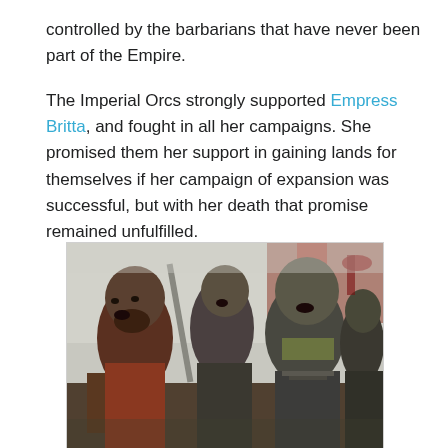controlled by the barbarians that have never been part of the Empire.
The Imperial Orcs strongly supported Empress Britta, and fought in all her campaigns. She promised them her support in gaining lands for themselves if her campaign of expansion was successful, but with her death that promise remained unfulfilled.
[Figure (photo): A group of orc-costumed warriors in battle gear, wearing prosthetic makeup, carrying weapons, in a misty battle scene setting.]